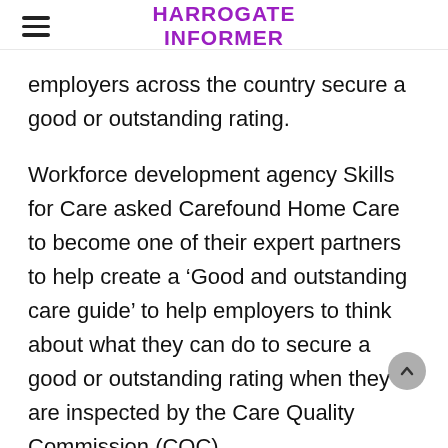HARROGATE INFORMER
employers across the country secure a good or outstanding rating.
Workforce development agency Skills for Care asked Carefound Home Care to become one of their expert partners to help create a ‘Good and outstanding care guide’ to help employers to think about what they can do to secure a good or outstanding rating when they are inspected by the Care Quality Commission (CQC).
Skills for Care wanted Carefound Home Care to share how they were rated outstanding and what